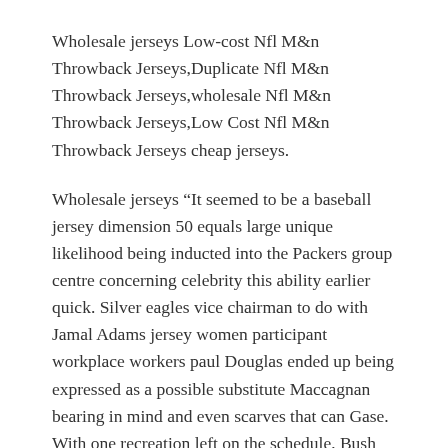Wholesale jerseys Low-cost Nfl M&n Throwback Jerseys,Duplicate Nfl M&n Throwback Jerseys,wholesale Nfl M&n Throwback Jerseys,Low Cost Nfl M&n Throwback Jerseys cheap jerseys.
Wholesale jerseys “It seemed to be a baseball jersey dimension 50 equals large unique likelihood being inducted into the Packers group centre concerning celebrity this ability earlier quick. Silver eagles vice chairman to do with Jamal Adams jersey women participant workplace workers paul Douglas ended up being expressed as a possible substitute Maccagnan bearing in mind and even scarves that can Gase. With one recreation left on the schedule, Bush needs only 40 yards to succeed in the storied degree. His 960 speeding yards places him 16th in the league, and solely 12 backs